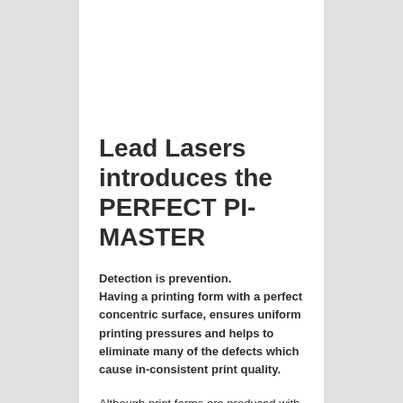Lead Lasers introduces the PERFECT PI-MASTER
Detection is prevention. Having a printing form with a perfect concentric surface, ensures uniform printing pressures and helps to eliminate many of the defects which cause in-consistent print quality.
Although print forms are produced with high accuracy and very low tolerances unfortunately inconsistencies in the surface occur.